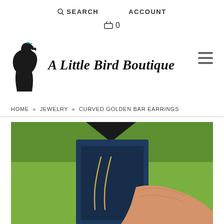SEARCH   ACCOUNT
🛒 0
[Figure (logo): A Little Bird Boutique logo: silhouette of a woman's head with a small blue bird on top, with cursive text 'A Little Bird Boutique']
HOME » JEWELRY » CURVED GOLDEN BAR EARRINGS
[Figure (photo): Photo of curved golden bar earrings displayed on a dark navy blue jewelry box card, held by a hand against a green grassy background. The earrings are long, slender curved gold bars.]